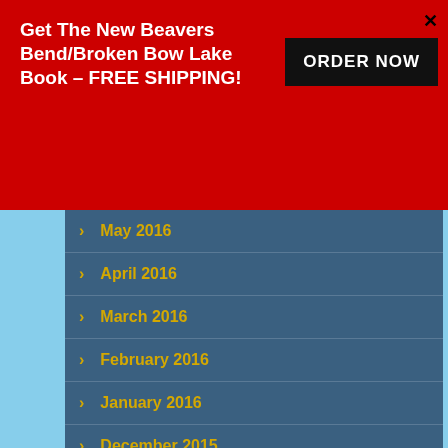Get The New Beavers Bend/Broken Bow Lake Book - FREE SHIPPING!
ORDER NOW
May 2016
April 2016
March 2016
February 2016
January 2016
December 2015
November 2015
October 2015